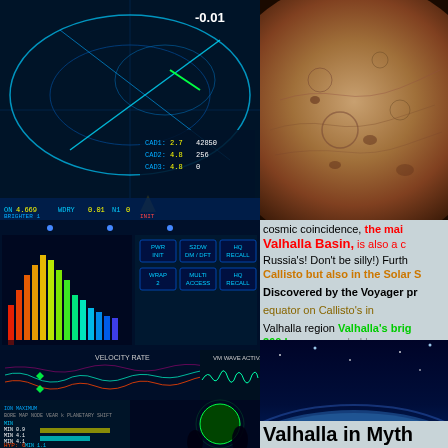[Figure (screenshot): Radar/HUD display showing orbital trajectories, yellow triangle marker, and telemetry data including values: ON 4.669, WDRY 0.01, N1 0, BRIGHTER 1, CAD1: 2.7 / 42850, CAD2: 4.8 / 256, CAD3: 4.8 / 0, and -0.01 value top right]
[Figure (photo): Close-up photo of Callisto moon surface showing brown/tan cratered terrain]
[Figure (screenshot): Spectrum analyzer display with colorful frequency bars (yellow/orange/red) and control panel with buttons: PWR INIT, S2DW DM/DFT, HQ RECALL, WRAP 2, MULTI ACCESS, HQ RECALL]
[Figure (screenshot): Velocity rate display showing waveform/flow lines in cyan and green, with VM WAVE ACTIV. label]
cosmic coincidence, the mai Valhalla Basin, is also a c Russia’s! Don’t be silly!) Furth Callisto but also in the Solar S Discovered by the Voyager pr equator on Callisto’s in Valhalla region Valhalla’s brig 360 km. surrounded by a frozen rings of ‘ghostlike ripp point.
Valhalla in Myth